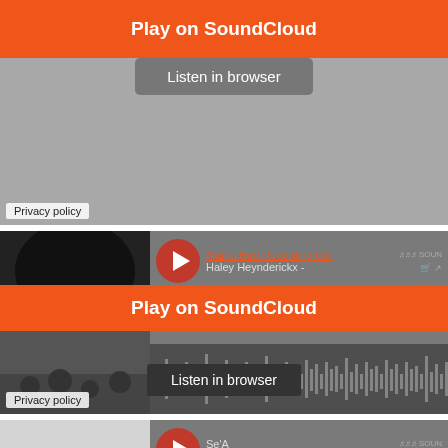Play on SoundCloud
Listen in browser
Privacy policy
[Figure (screenshot): SoundCloud embedded player widget showing Haley Heynderickx track from Mama Bird Recording Co., with black and white photo of sunflowers/trees]
Play on SoundCloud
Listen in browser
Privacy policy
[Figure (screenshot): SoundCloud embedded player showing Se'A - New Money (Feat. Ce...) with album cover]
Play on SoundCloud
Listen in browser
Privacy policy